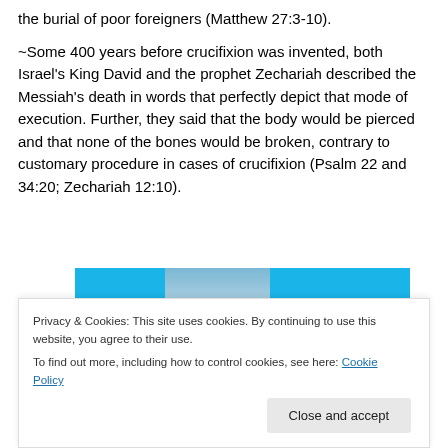the burial of poor foreigners (Matthew 27:3-10).
~Some 400 years before crucifixion was invented, both Israel's King David and the prophet Zechariah described the Messiah's death in words that perfectly depict that mode of execution. Further, they said that the body would be pierced and that none of the bones would be broken, contrary to customary procedure in cases of crucifixion (Psalm 22 and 34:20; Zechariah 12:10).
[Figure (screenshot): A partial screenshot of a website showing image thumbnails with a blue background and a photo of palm trees by the beach, with the number 05 visible.]
Privacy & Cookies: This site uses cookies. By continuing to use this website, you agree to their use.
To find out more, including how to control cookies, see here: Cookie Policy